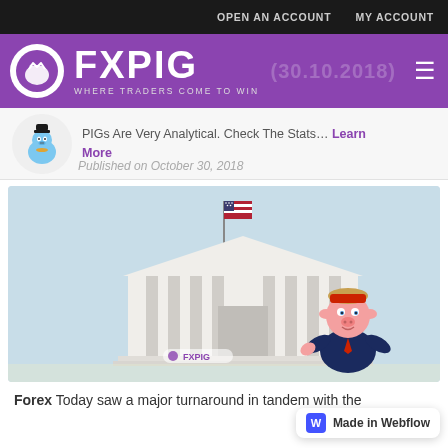OPEN AN ACCOUNT   MY ACCOUNT
[Figure (logo): FXPIG logo with white circle, purple background, tagline WHERE TRADERS COME TO WIN, and date overlay (30.10.2018)]
PIGs Are Very Analytical. Check The Stats... Learn More
Published on October 30, 2018
[Figure (illustration): Illustration of a white government/federal building with columns and American flag, with a pig mascot wearing a Trump-style suit and red hat standing beside it. FXPIG watermark at bottom.]
Forex Today saw a major turnaround in tandem with the